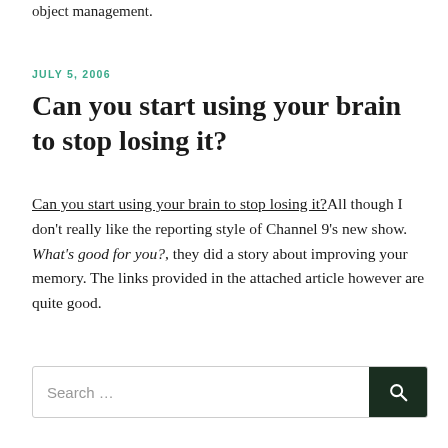object management.
JULY 5, 2006
Can you start using your brain to stop losing it?
Can you start using your brain to stop losing it? All though I don't really like the reporting style of Channel 9's new show. What's good for you?, they did a story about improving your memory. The links provided in the attached article however are quite good.